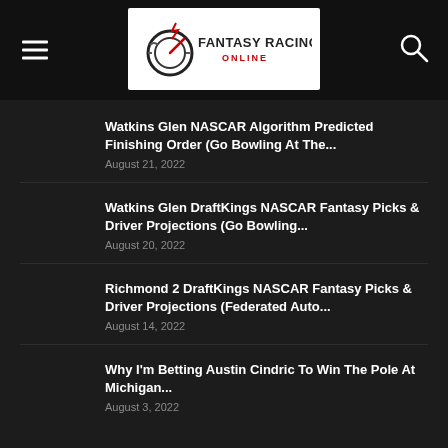Fantasy Racing Online
Watkins Glen NASCAR Algorithm Predicted Finishing Order (Go Bowling At The...
August 21, 2022
Watkins Glen DraftKings NASCAR Fantasy Picks & Driver Projections (Go Bowling...
August 20, 2022
Richmond 2 DraftKings NASCAR Fantasy Picks & Driver Projections (Federated Auto...
August 14, 2022
Why I'm Betting Austin Cindric To Win The Pole At Michigan...
August 3, 2022